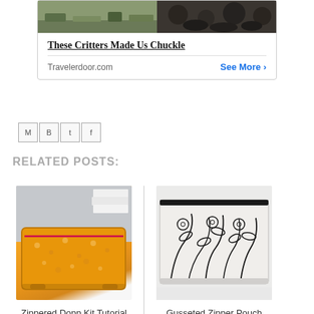[Figure (other): Advertisement box with two nature photos at top, headline 'These Critters Made Us Chuckle', source Travelerdoor.com and See More link]
[Figure (other): Social share icons: Email, Blogger, Twitter, Facebook]
RELATED POSTS:
[Figure (photo): Yellow floral zippered dopp kit bag with white towels in background]
Zippered Dopp Kit Tutorial
[Figure (photo): Gusseted zipper pouch with black line-art floral pattern on cream fabric]
Gusseted Zipper Pouch Tutorial & Pa...